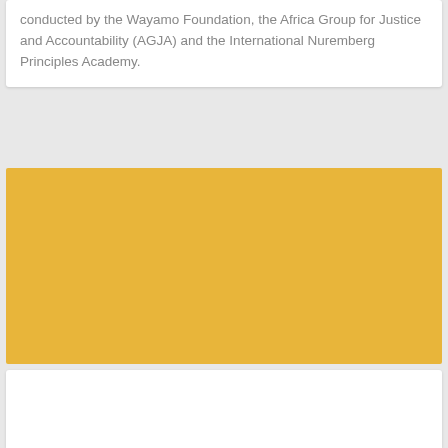conducted by the Wayamo Foundation, the Africa Group for Justice and Accountability (AGJA) and the International Nuremberg Principles Academy.
[Figure (photo): A large golden/amber colored rectangular image placeholder filling most of the middle section of the page.]